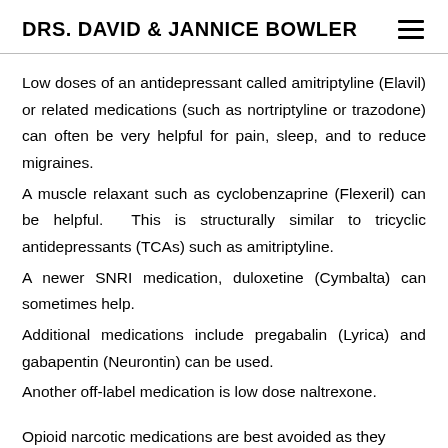DRS. DAVID & JANNICE BOWLER
Low doses of an antidepressant called amitriptyline (Elavil) or related medications (such as nortriptyline or trazodone) can often be very helpful for pain, sleep, and to reduce migraines.
A muscle relaxant such as cyclobenzaprine (Flexeril) can be helpful. This is structurally similar to tricyclic antidepressants (TCAs) such as amitriptyline.
A newer SNRI medication, duloxetine (Cymbalta) can sometimes help.
Additional medications include pregabalin (Lyrica) and gabapentin (Neurontin) can be used.
Another off-label medication is low dose naltrexone.
Opioid narcotic medications are best avoided as they